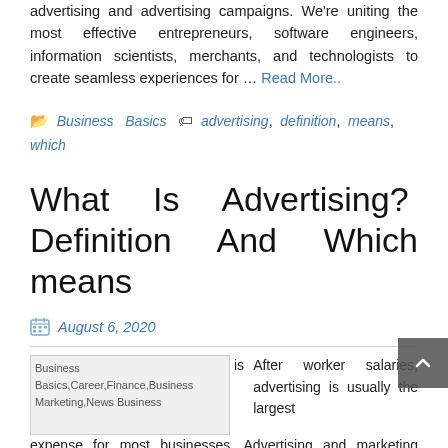advertising and advertising campaigns. We're uniting the most effective entrepreneurs, software engineers, information scientists, merchants, and technologists to create seamless experiences for … Read More..
Business Basics  advertising,  definition,  means, which
What Is Advertising? Definition And Which means
August 6, 2020
[Figure (photo): Business Basics,Career,Finance,Business Marketing,News Business thumbnail image]
After worker salaries, advertising is usually the largest expense for most businesses. Advertising and marketing specialists develop advertising and marketing and advertising strategies for varied products and services. As an illustration, government can actively promote entrepreneurship by